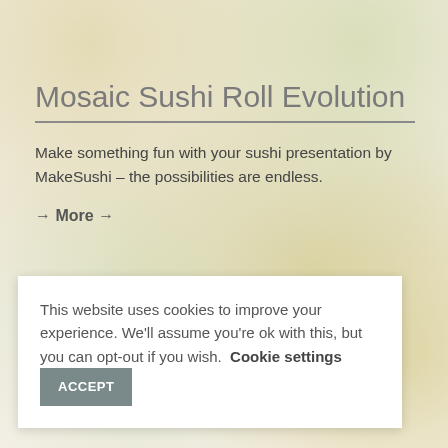Mosaic Sushi Roll Evolution
Make something fun with your sushi presentation by MakeSushi – the possibilities are endless.
→ More →
This website uses cookies to improve your experience. We'll assume you're ok with this, but you can opt-out if you wish. Cookie settings ACCEPT